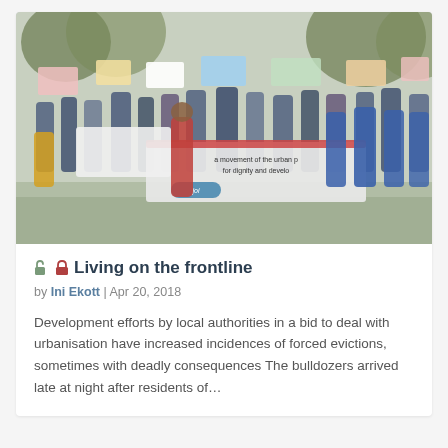[Figure (photo): A crowd of protesters in a street, holding banners and placards. One visible banner reads 'a movement of the urban p... for dignity and develo...' with a 'joi' logo. People are wearing blue shirts and casual clothing.]
Living on the frontline
by Ini Ekott | Apr 20, 2018
Development efforts by local authorities in a bid to deal with urbanisation have increased incidences of forced evictions, sometimes with deadly consequences The bulldozers arrived late at night after residents of...